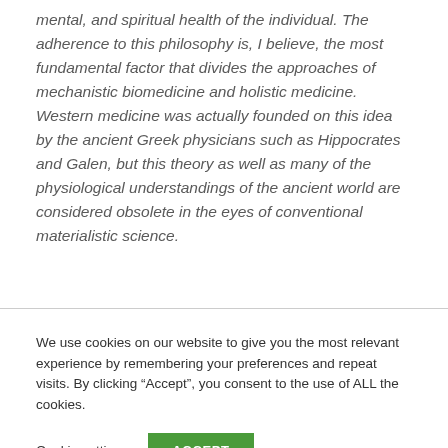mental, and spiritual health of the individual. The adherence to this philosophy is, I believe, the most fundamental factor that divides the approaches of mechanistic biomedicine and holistic medicine. Western medicine was actually founded on this idea by the ancient Greek physicians such as Hippocrates and Galen, but this theory as well as many of the physiological understandings of the ancient world are considered obsolete in the eyes of conventional materialistic science.
We use cookies on our website to give you the most relevant experience by remembering your preferences and repeat visits. By clicking “Accept”, you consent to the use of ALL the cookies.
Cookie settings | ACCEPT